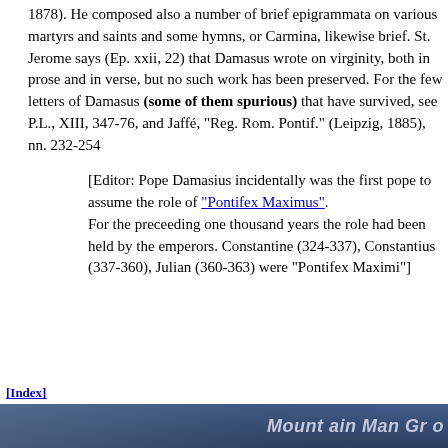1878). He composed also a number of brief epigrammata on various martyrs and saints and some hymns, or Carmina, likewise brief. St. Jerome says (Ep. xxii, 22) that Damasus wrote on virginity, both in prose and in verse, but no such work has been preserved. For the few letters of Damasus (some of them spurious) that have survived, see P.L., XIII, 347-76, and Jaffé, "Reg. Rom. Pontif." (Leipzig, 1885), nn. 232-254
[Editor: Pope Damasius incidentally was the first pope to assume the role of "Pontifex Maximus". For the preceeding one thousand years the role had been held by the emperors. Constantine (324-337), Constantius (337-360), Julian (360-363) were "Pontifex Maximi"]
[Index]